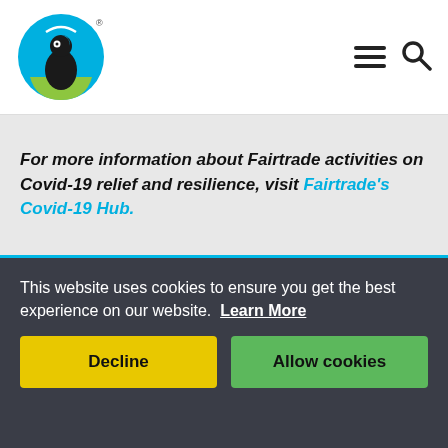Fairtrade logo and navigation header
For more information about Fairtrade activities on Covid-19 relief and resilience, visit Fairtrade's Covid-19 Hub.
About Fairtrade
Fairtrade is the most recognized and trusted sustainability label in the world. We are a global organization that is co-owned by more than 1.8 million farmers and workers who have
This website uses cookies to ensure you get the best experience on our website. Learn More
Decline
Allow cookies